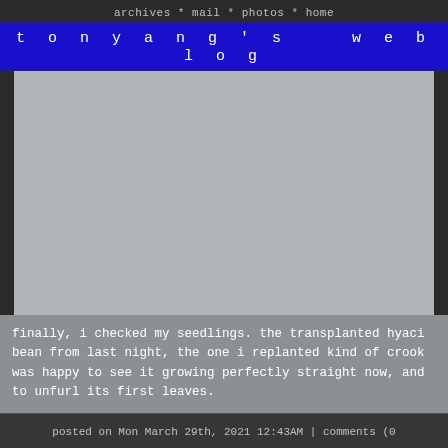archives * mail * photos * home
tonyang's weblog
[Figure (photo): A large gray rectangular photo/image placeholder occupying most of the upper portion of the blog post area.]
finally, i checked my seedlings. the transplanted hyaci bean from last night, the one i replanted kind of crook was happy to see it growing perfectly straight now, and to unfurl its first leaves.
posted on Mon March 29th, 2021 12:43AM | comments (0